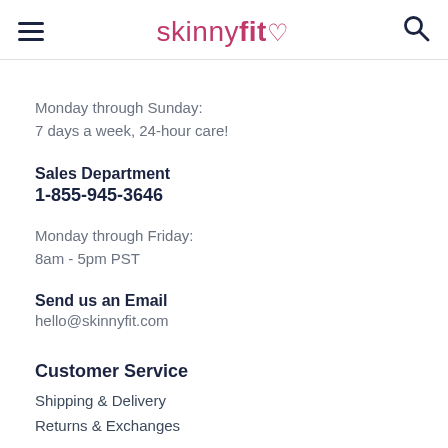skinnyfit♡
Monday through Sunday:
7 days a week, 24-hour care!
Sales Department
1-855-945-3646
Monday through Friday:
8am - 5pm PST
Send us an Email
hello@skinnyfit.com
Customer Service
Shipping & Delivery
Returns & Exchanges